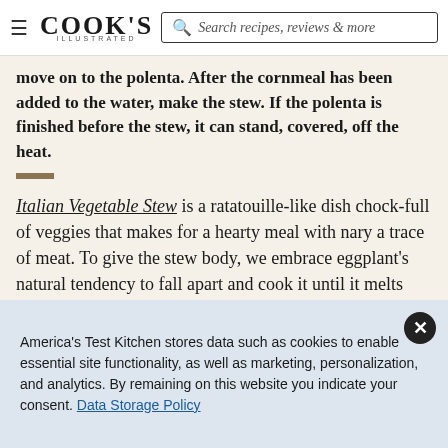COOK'S ILLUSTRATED — Search recipes, reviews & more
move on to the polenta. After the cornmeal has been added to the water, make the stew. If the polenta is finished before the stew, it can stand, covered, off the heat.
Italian Vegetable Stew is a ratatouille-like dish chock-full of veggies that makes for a hearty meal with nary a trace of meat. To give the stew body, we embrace eggplant's natural tendency to fall apart and cook it until it melts into a tomato-enriched
America's Test Kitchen stores data such as cookies to enable essential site functionality, as well as marketing, personalization, and analytics. By remaining on this website you indicate your consent. Data Storage Policy